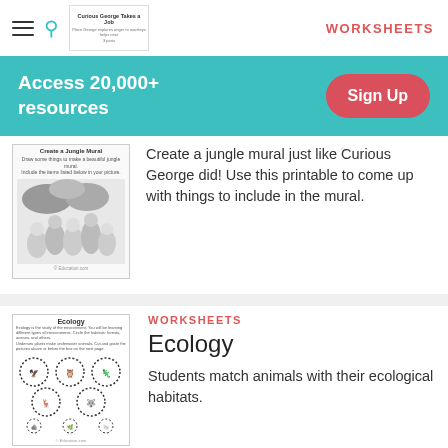WORKSHEETS
Access 20,000+ resources
Sign Up
[Figure (illustration): Thumbnail of a Curious George worksheet showing children creating a jungle mural]
Create a jungle mural just like Curious George did! Use this printable to come up with things to include in the mural.
WORKSHEETS
[Figure (illustration): Thumbnail of an Ecology worksheet showing animals in dashed circles to be matched with their ecological habitats]
Ecology
Students match animals with their ecological habitats.